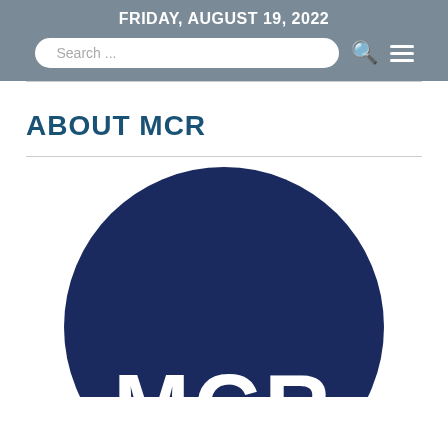FRIDAY, AUGUST 19, 2022
ABOUT MCR
[Figure (logo): MCR logo: dark navy blue circle with white bold letters MCR in the lower half]